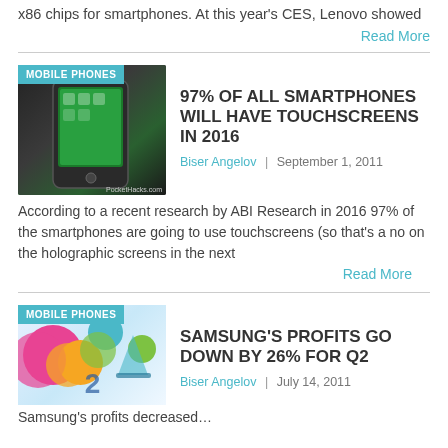x86 chips for smartphones. At this year's CES, Lenovo showed
Read More
[Figure (photo): Smartphone photo with MOBILE PHONES badge and PocketHacks.com credit]
97% OF ALL SMARTPHONES WILL HAVE TOUCHSCREENS IN 2016
Biser Angelov | September 1, 2011
According to a recent research by ABI Research in 2016 97% of the smartphones are going to use touchscreens (so that’s a no on the holographic screens in the next
Read More
[Figure (photo): Colorful circular graphic with MOBILE PHONES badge]
SAMSUNG’S PROFITS GO DOWN BY 26% FOR Q2
Biser Angelov | July 14, 2011
Samsung’s profits decreased…